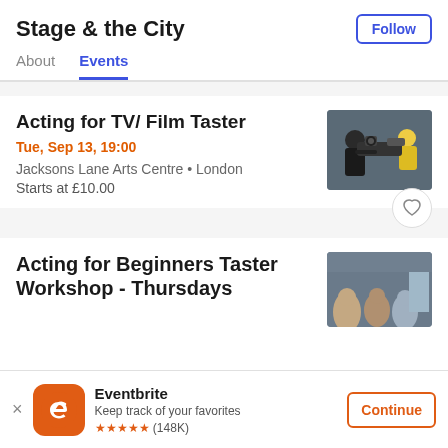Stage & the City
Follow
About
Events
Acting for TV/ Film Taster
Tue, Sep 13, 19:00
Jacksons Lane Arts Centre • London
Starts at £10.00
[Figure (photo): Two people with a professional film camera on a stabilizer rig]
Acting for Beginners Taster Workshop - Thursdays
[Figure (photo): Audience or workshop participants in a room]
Eventbrite
Keep track of your favorites
★★★★★ (148K)
Continue